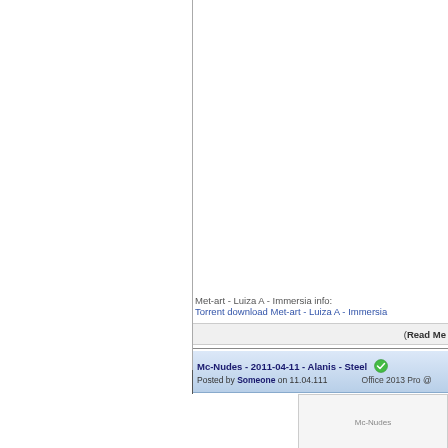Met-art - Luiza A - Immersia info:
Torrent download Met-art - Luiza A - Immersia
(Read Me
Mc-Nudes - 2011-04-11 - Alanis - Steel
Posted by Someone on 11.04.111   Office 2013 Pro @
[Figure (screenshot): Mc-Nudes image thumbnail placeholder]